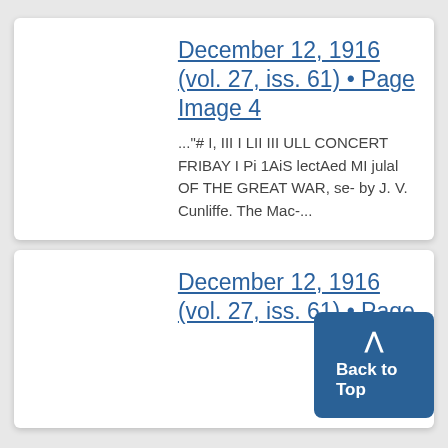December 12, 1916 (vol. 27, iss. 61) • Page Image 4
..."# I, III I LII III ULL CONCERT FRIBAY I Pi 1AiS lectAed MI julal OF THE GREAT WAR, se- by J. V. Cunliffe. The Mac-...
December 12, 1916 (vol. 27, iss. 61) • Page